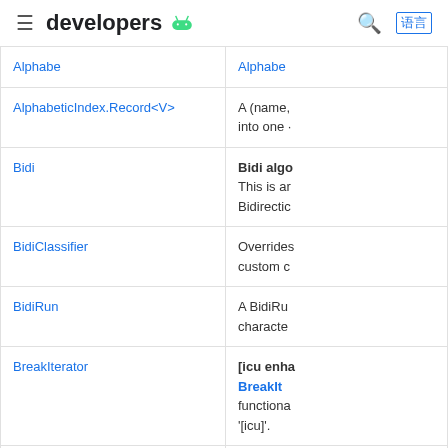developers [android logo]
| Class | Description |
| --- | --- |
| AlphabeticIndex.Record<V> | A (name, into one · |
| Bidi | Bidi algo This is an Bidirectio |
| BidiClassifier | Overrides custom c |
| BidiRun | A BidiRun characte |
| BreakIterator | [icu enha BreakIt functiona '[icu]'. |
| CaseMap | Low-leve methods |
| CaseMap.Fold | Case fold |